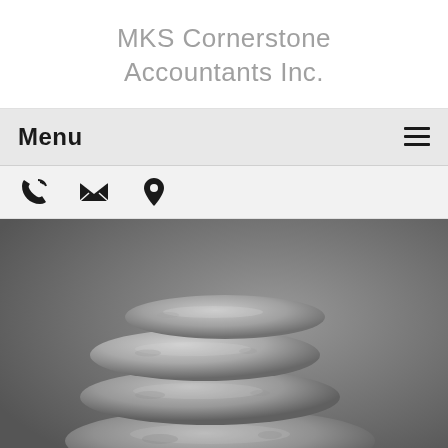MKS Cornerstone Accountants Inc.
Menu
[Figure (other): Contact icons: phone, email, location pin]
[Figure (photo): Black and white photo of four balanced stacked zen stones/rocks on a surface]